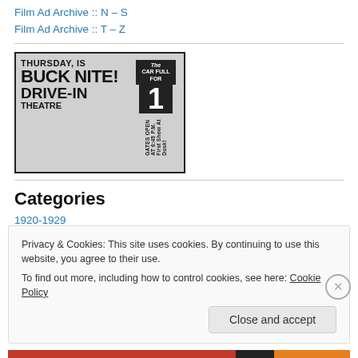Film Ad Archive :: N – S
Film Ad Archive :: T – Z
[Figure (photo): Black and white newspaper advertisement for Buck Nite Drive-In Theatre. Text reads: THURSDAY, IS BUCK NITE! DRIVE-IN THEATRE. Right side shows: The Car Full For $1, Gates Open at 6:45 P.M. First Show At Dusk!]
Categories
1920-1929
Privacy & Cookies: This site uses cookies. By continuing to use this website, you agree to their use.
To find out more, including how to control cookies, see here: Cookie Policy
Close and accept